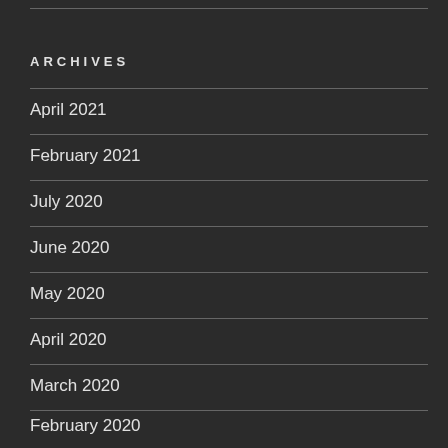ARCHIVES
April 2021
February 2021
July 2020
June 2020
May 2020
April 2020
March 2020
February 2020
January 2020